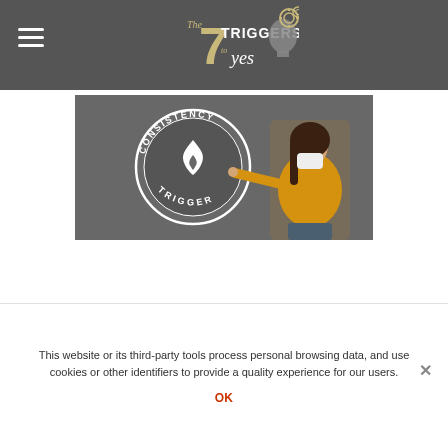[Figure (logo): The 7 Triggers to Yes logo with gear/head icon on dark gray header bar]
[Figure (photo): Woman in yellow top and white face mask pointing to a circular badge reading CONSISTENCY TRIGGER with a flame icon, on dark gray background]
This website or its third-party tools process personal browsing data, and use cookies or other identifiers to provide a quality experience for our users.
OK